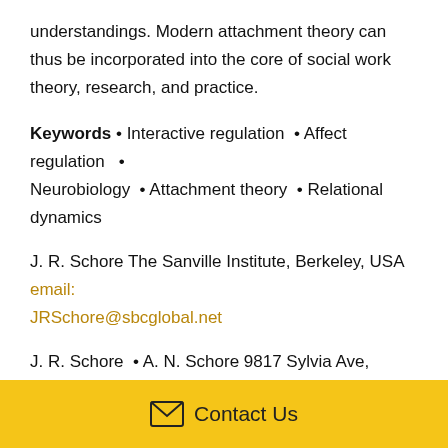understandings. Modern attachment theory can thus be incorporated into the core of social work theory, research, and practice.
Keywords • Interactive regulation • Affect regulation • Neurobiology • Attachment theory • Relational dynamics
J. R. Schore The Sanville Institute, Berkeley, USA email: JRSchore@sbcglobal.net
J. R. Schore • A. N. Schore 9817 Sylvia Ave, Northridge, CA 91324, USA
Contact Us